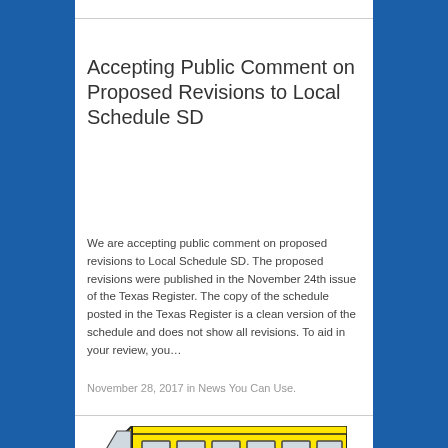Accepting Public Comment on Proposed Revisions to Local Schedule SD
We are accepting public comment on proposed revisions to Local Schedule SD. The proposed revisions were published in the November 24th issue of the Texas Register. The copy of the schedule posted in the Texas Register is a clean version of the schedule and does not show all revisions. To aid in your review, you…
November 28, 2017 in News You Can Use.
[Figure (illustration): Partial illustration of a yellow school bus, showing the top portion with windows and yellow roof visible at the bottom of the page.]